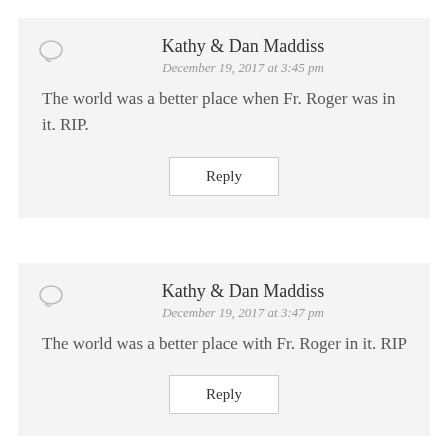Kathy & Dan Maddiss
December 19, 2017 at 3:45 pm
The world was a better place when Fr. Roger was in it. RIP.
Reply
Kathy & Dan Maddiss
December 19, 2017 at 3:47 pm
The world was a better place with Fr. Roger in it. RIP
Reply